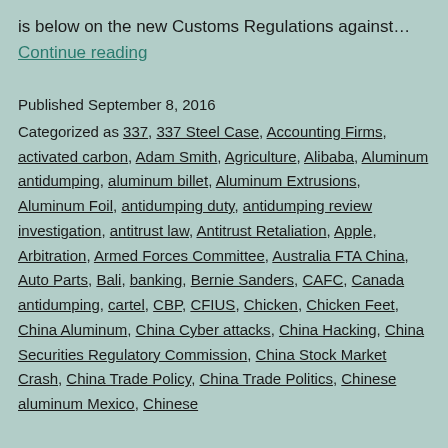is below on the new Customs Regulations against… Continue reading
Published September 8, 2016
Categorized as 337, 337 Steel Case, Accounting Firms, activated carbon, Adam Smith, Agriculture, Alibaba, Aluminum antidumping, aluminum billet, Aluminum Extrusions, Aluminum Foil, antidumping duty, antidumping review investigation, antitrust law, Antitrust Retaliation, Apple, Arbitration, Armed Forces Committee, Australia FTA China, Auto Parts, Bali, banking, Bernie Sanders, CAFC, Canada antidumping, cartel, CBP, CFIUS, Chicken, Chicken Feet, China Aluminum, China Cyber attacks, China Hacking, China Securities Regulatory Commission, China Stock Market Crash, China Trade Policy, China Trade Politics, Chinese aluminum Mexico, Chinese